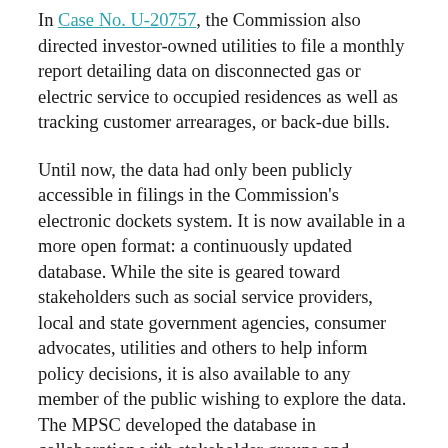In Case No. U-20757, the Commission also directed investor-owned utilities to file a monthly report detailing data on disconnected gas or electric service to occupied residences as well as tracking customer arrearages, or back-due bills.
Until now, the data had only been publicly accessible in filings in the Commission's electronic dockets system. It is now available in a more open format: a continuously updated database. While the site is geared toward stakeholders such as social service providers, local and state government agencies, consumer advocates, utilities and others to help inform policy decisions, it is also available to any member of the public wishing to explore the data. The MPSC developed the database in collaboration with stakeholder groups and regulated utilities.
The MPSC has collected data on shutoffs for years